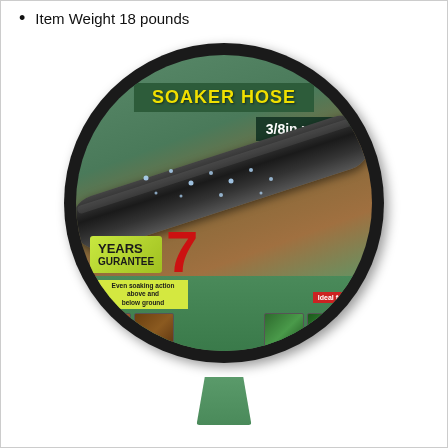Item Weight 18 pounds
[Figure (photo): Product photo of a Soaker Hose coiled on a display stand. The packaging shows 'SOAKER HOSE' in yellow text on dark green background, '3/8in x 25 ft' size label, a close-up of the black soaker hose with water droplets, '7 YEARS GUARANTEE' badge with a large red number 7, small thumbnail images showing soaking action above and below ground, and 'Ideal for' section with gardening and landscaping thumbnails. A black connector fitting is visible at the right side.]